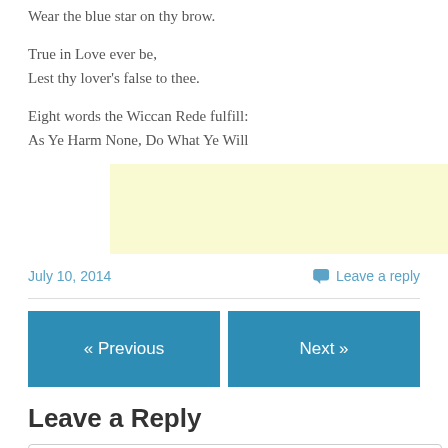Wear the blue star on thy brow.
True in Love ever be,
Lest thy lover's false to thee.
Eight words the Wiccan Rede fulfill:
As Ye Harm None, Do What Ye Will
[Figure (other): Yellow advertisement banner placeholder]
July 10, 2014
Leave a reply
« Previous
Next »
Leave a Reply
Enter your comment here...